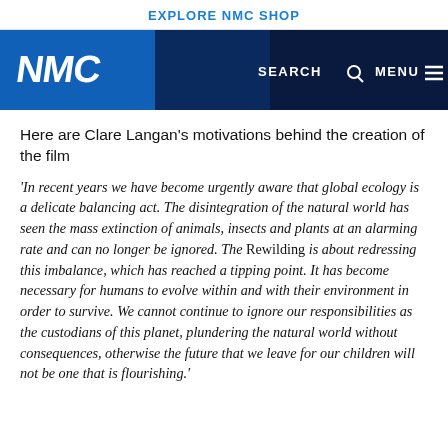EXPLORE NMC SHOP
[Figure (logo): NMC logo in white on blue navigation bar with SEARCH and MENU controls]
Here are Clare Langan's motivations behind the creation of the film
'In recent years we have become urgently aware that global ecology is a delicate balancing act. The disintegration of the natural world has seen the mass extinction of animals, insects and plants at an alarming rate and can no longer be ignored. The Rewilding is about redressing this imbalance, which has reached a tipping point. It has become necessary for humans to evolve within and with their environment in order to survive. We cannot continue to ignore our responsibilities as the custodians of this planet, plundering the natural world without consequences, otherwise the future that we leave for our children will not be one that is flourishing.'